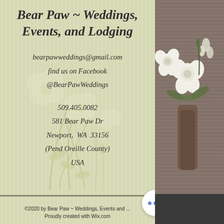Bear Paw ~ Weddings, Events, and Lodging
bearpawweddings@gmail.com
find us on Facebook
@BearPawWeddings
509.405.0082
581 Bear Paw Dr
Newport,  WA  33156
(Pend Oreille County)
USA
©2020 by Bear Paw ~ Weddings, Events and ...
Proudly created with Wix.com